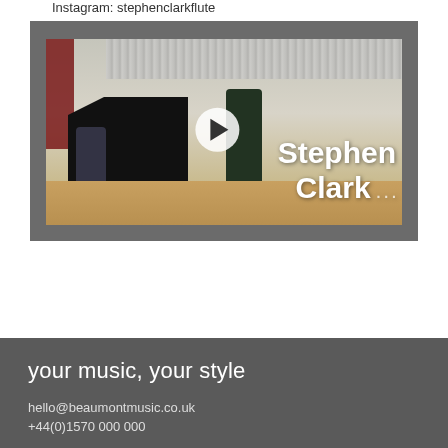Instagram: stephenclarkflute
[Figure (photo): Video thumbnail showing two musicians performing in a concert hall with a grand piano. A play button icon is overlaid. Text overlay reads 'Stephen Clark' with dots. The hall has organ pipes visible at the top and wooden stage floor.]
your music, your style
hello@beaumontmusic.co.uk
+44(0)1570 000 000